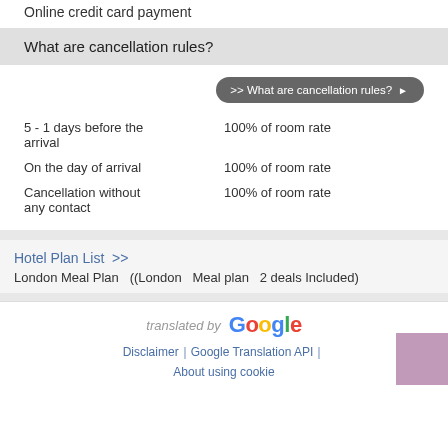Online credit card payment
What are cancellation rules?
>> What are cancellation rules? ▶
|  |  |
| --- | --- |
| 5 - 1 days before the arrival | 100% of room rate |
| On the day of arrival | 100% of room rate |
| Cancellation without any contact | 100% of room rate |
Hotel Plan List >>
London Meal Plan   ((London   Meal plan   2 deals Included)
translated by Google
Disclaimer｜Google Translation API｜
About using cookie